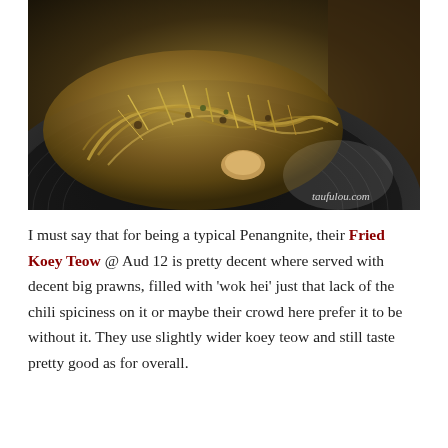[Figure (photo): Close-up photo of Fried Koey Teow on a dark round plate, showing noodles with bean sprouts, prawns, and wok-fried ingredients. Watermark 'taufulou.com' in bottom-right corner.]
I must say that for being a typical Penangnite, their Fried Koey Teow @ Aud 12 is pretty decent where served with decent big prawns, filled with 'wok hei' just that lack of the chili spiciness on it or maybe their crowd here prefer it to be without it. They use slightly wider koey teow and still taste pretty good as for overall.